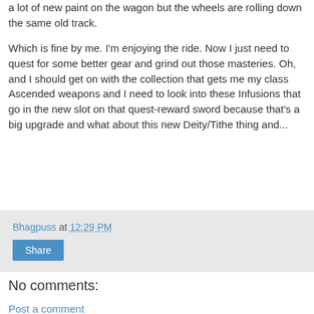a lot of new paint on the wagon but the wheels are rolling down the same old track.
Which is fine by me. I'm enjoying the ride. Now I just need to quest for some better gear and grind out those masteries. Oh, and I should get on with the collection that gets me my class Ascended weapons and I need to look into these Infusions that go in the new slot on that quest-reward sword because that's a big upgrade and what about this new Deity/Tithe thing and...
Bhagpuss at 12:29 PM
Share
No comments:
Post a comment